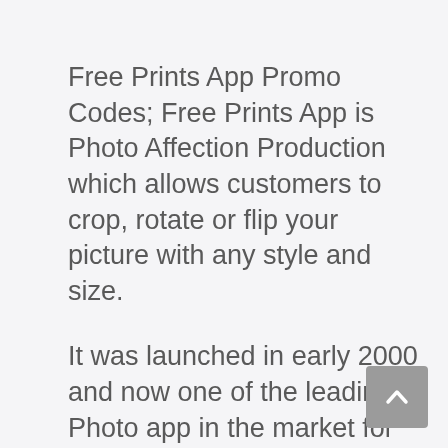Free Prints App Promo Codes; Free Prints App is Photo Affection Production which allows customers to crop, rotate or flip your picture with any style and size.
It was launched in early 2000 and now one of the leading Photo app in the market for iOS, Android, and Window Phones.